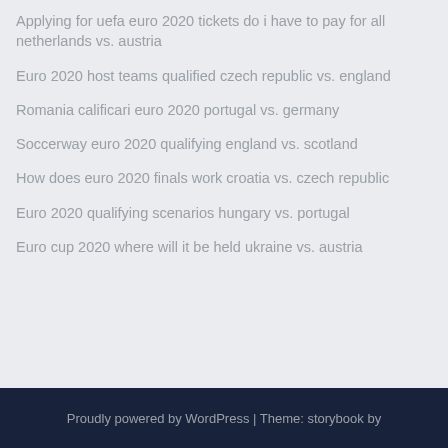Applying for uefa euro 2020 tickets do i have to pay for all netherlands vs. austria
Euro 2020 host teams qualified czech republic vs. england
Romania calificari euro 2020 portugal vs. germany
Soccerway euro 2020 qualifying england vs. scotland
How does euro 2020 finals work croatia vs. czech republic
Euro 2020 qualifying scenarios hungary vs. portugal
Euro cup 2020 where will it be held ukraine vs. austria
Proudly powered by WordPress | Theme: storybook by